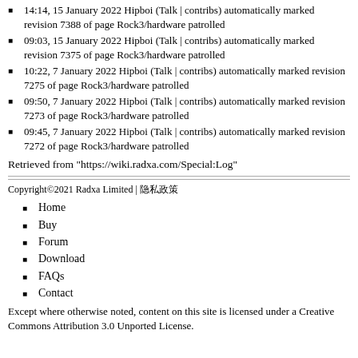14:14, 15 January 2022 Hipboi (Talk | contribs) automatically marked revision 7388 of page Rock3/hardware patrolled
09:03, 15 January 2022 Hipboi (Talk | contribs) automatically marked revision 7375 of page Rock3/hardware patrolled
10:22, 7 January 2022 Hipboi (Talk | contribs) automatically marked revision 7275 of page Rock3/hardware patrolled
09:50, 7 January 2022 Hipboi (Talk | contribs) automatically marked revision 7273 of page Rock3/hardware patrolled
09:45, 7 January 2022 Hipboi (Talk | contribs) automatically marked revision 7272 of page Rock3/hardware patrolled
Retrieved from "https://wiki.radxa.com/Special:Log"
Copyright©2021 Radxa Limited | 隐私政策
Home
Buy
Forum
Download
FAQs
Contact
Except where otherwise noted, content on this site is licensed under a Creative Commons Attribution 3.0 Unported License.